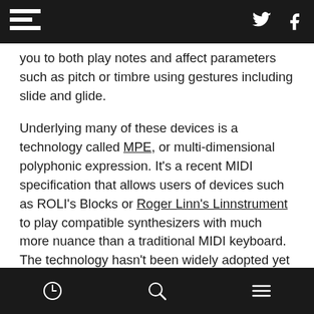F [logo] [twitter] [facebook]
you to both play notes and affect parameters such as pitch or timbre using gestures including slide and glide.
Underlying many of these devices is a technology called MPE, or multi-dimensional polyphonic expression. It's a recent MIDI specification that allows users of devices such as ROLI's Blocks or Roger Linn's Linnstrument to play compatible synthesizers with much more nuance than a traditional MIDI keyboard. The technology hasn't been widely adopted yet but support is growing: GarageBand, Bitwig Studio 2, Sonar and Max are a few of the platforms supporting it.
[history] [search] [menu]